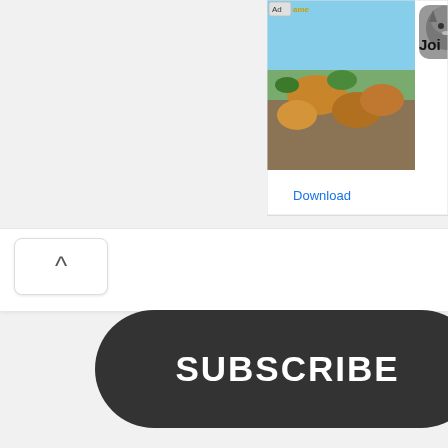[Figure (screenshot): Advertisement banner showing animals (wolves/foxes) in a nature scene with 'Ad' label, a wolf app icon, 'Joi' text, and a 'Download' link in blue]
Download
[Figure (screenshot): Chevron/caret up button (^) in a white rounded rectangle]
SUBSCRIBE
Leave a Comment
[Figure (screenshot): Empty comment text area input box with a gray scroll-to-top button (chevron up) overlaid on the right side]